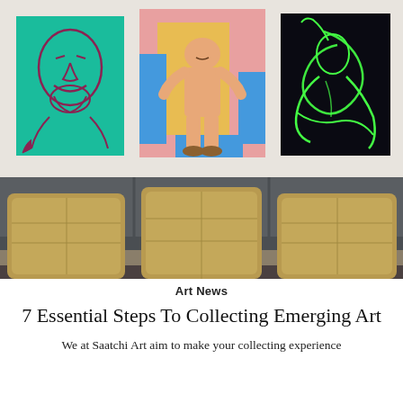[Figure (photo): Three contemporary paintings hung on a white wall above a gray sofa with three tan/gold cushions. Left painting: teal background with a stylized face outline in dark and pink lines. Center painting: pink and yellow background with a nude muscular figure and blue shapes. Right painting: black background with green neon-style swirling figure outlines.]
Art News
7 Essential Steps To Collecting Emerging Art
We at Saatchi Art aim to make your collecting experience